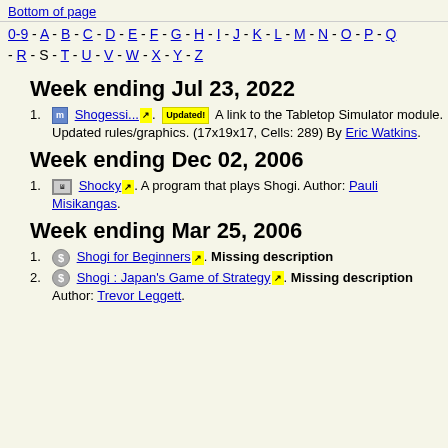Bottom of page
0-9 - A - B - C - D - E - F - G - H - I - J - K - L - M - N - O - P - Q - R - S - T - U - V - W - X - Y - Z
Week ending Jul 23, 2022
Shogessi.... [Updated!] A link to the Tabletop Simulator module. Updated rules/graphics. (17x19x17, Cells: 289) By Eric Watkins.
Week ending Dec 02, 2006
Shocky. A program that plays Shogi. Author: Pauli Misikangas.
Week ending Mar 25, 2006
Shogi for Beginners. Missing description
Shogi : Japan's Game of Strategy. Missing description Author: Trevor Leggett.